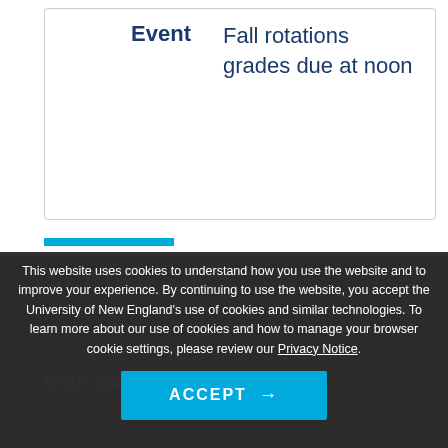|  |  |
| --- | --- |
| Event | Fall rotations grades due at noon |
SPRING 2023
This website uses cookies to understand how you use the website and to improve your experience. By continuing to use the website, you accept the University of New England's use of cookies and similar technologies. To learn more about our use of cookies and how to manage your browser cookie settings, please review our Privacy Notice.
ACCEPT →
Date January 1,